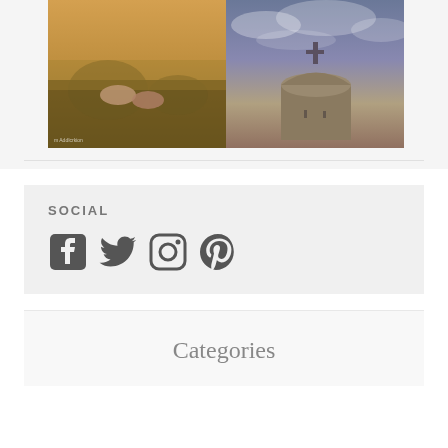[Figure (photo): Two people holding hands outdoors in a field with warm golden light]
[Figure (photo): Church building with a cross on top against a dramatic cloudy sky at sunset]
SOCIAL
[Figure (infographic): Social media icons: Facebook, Twitter, Instagram, Pinterest]
Categories